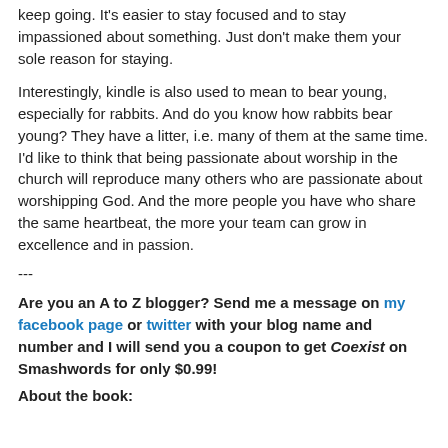keep going. It's easier to stay focused and to stay impassioned about something. Just don't make them your sole reason for staying.
Interestingly, kindle is also used to mean to bear young, especially for rabbits. And do you know how rabbits bear young? They have a litter, i.e. many of them at the same time. I'd like to think that being passionate about worship in the church will reproduce many others who are passionate about worshipping God. And the more people you have who share the same heartbeat, the more your team can grow in excellence and in passion.
---
Are you an A to Z blogger? Send me a message on my facebook page or twitter with your blog name and number and I will send you a coupon to get Coexist on Smashwords for only $0.99!
About the book: